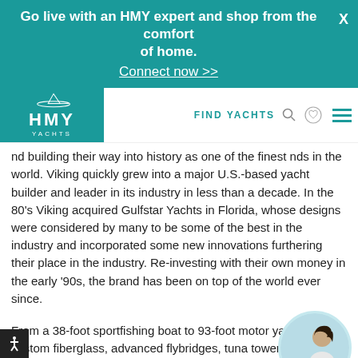Go live with an HMY expert and shop from the comfort of home. Connect now >>
[Figure (logo): HMY Yachts logo with yacht silhouette icon, white text on teal background]
FIND YACHTS
nd building their way into history as one of the finest nds in the world. Viking quickly grew into a major U.S.-based yacht builder and leader in its industry in less than a decade. In the 80’s Viking acquired Gulfstar Yachts in Florida, whose designs were considered by many to be some of the best in the industry and incorporated some new innovations furthering their place in the industry. Re-investing with their own money in the early ’90s, the brand has been on top of the world ever since.
From a 38-foot sportfishing boat to 93-foot motor yachts, semi-custom fiberglass, advanced flybridges, tuna towers, and impressive outriggers, Viking yachts carry a tradition of excellence, innovative technology, and family history. Most Viking